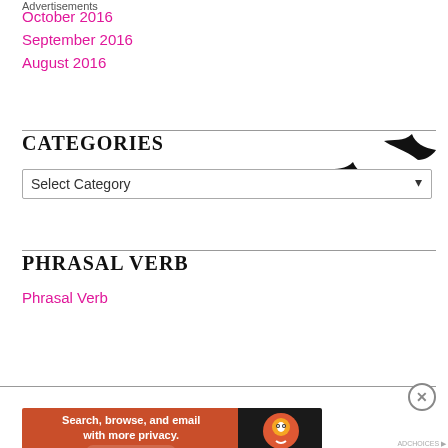October 2016
September 2016
August 2016
CATEGORIES
[Figure (illustration): Three flying bird silhouettes in black]
Select Category (dropdown)
PHRASAL VERB
Phrasal Verb
Advertisements
[Figure (screenshot): DuckDuckGo advertisement banner: Search, browse, and email with more privacy. All in One Free App]